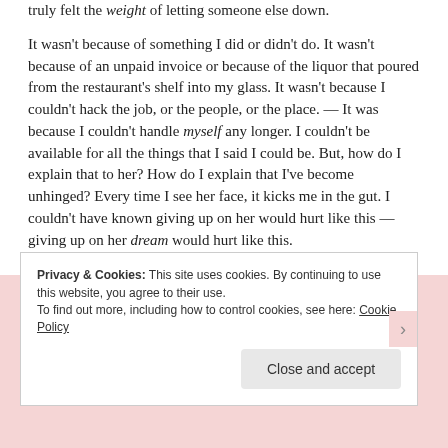truly felt the weight of letting someone else down.

It wasn't because of something I did or didn't do. It wasn't because of an unpaid invoice or because of the liquor that poured from the restaurant's shelf into my glass. It wasn't because I couldn't hack the job, or the people, or the place. — It was because I couldn't handle myself any longer. I couldn't be available for all the things that I said I could be. But, how do I explain that to her? How do I explain that I've become unhinged? Every time I see her face, it kicks me in the gut. I couldn't have known giving up on her would hurt like this — giving up on her dream would hurt like this.
Privacy & Cookies: This site uses cookies. By continuing to use this website, you agree to their use.
To find out more, including how to control cookies, see here: Cookie Policy